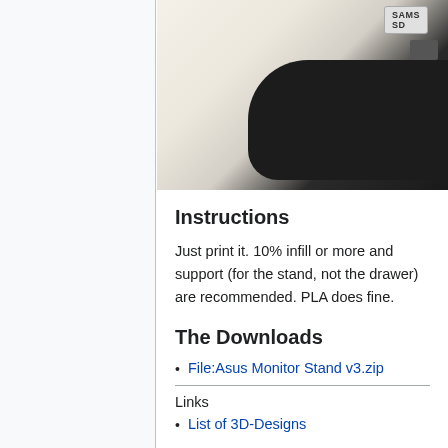[Figure (photo): Close-up photo of a black curved device (monitor stand) with Samsung SD card label and memory cards on a light beige surface]
Instructions
Just print it. 10% infill or more and support (for the stand, not the drawer) are recommended. PLA does fine.
The Downloads
File:Asus Monitor Stand v3.zip
Links
List of 3D-Designs